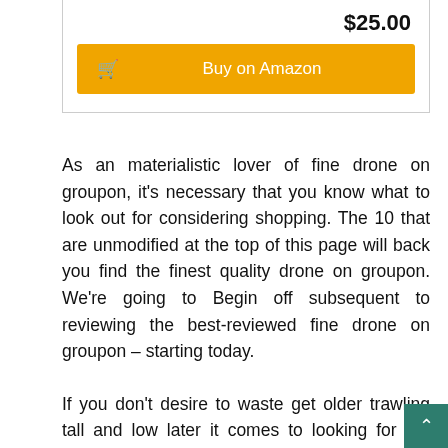$25.00
[Figure (other): Buy on Amazon orange button with cart icon]
As an materialistic lover of fine drone on groupon, it’s necessary that you know what to look out for considering shopping. The 10 that are unmodified at the top of this page will back you find the finest quality drone on groupon. We’re going to Begin off subsequent to reviewing the best-reviewed fine drone on groupon – starting today.
If you don’t desire to waste get older trawling tall and low later it comes to looking for the great drone on groupon then this top list should be your best bet. It’s got anything the basic features that are required